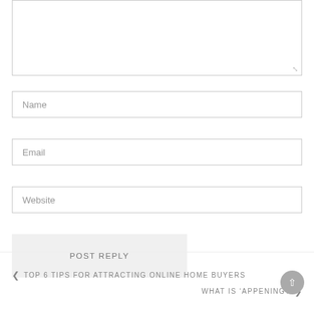[Figure (screenshot): Comment form textarea (empty, resizable) at the top of the page]
Name
Email
Website
POST REPLY
< TOP 6 TIPS FOR ATTRACTING ONLINE HOME BUYERS
WHAT IS 'APPENING? >